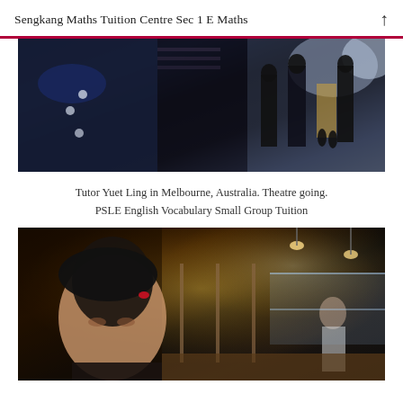Sengkang Maths Tuition Centre Sec 1 E Maths
[Figure (photo): People walking on a street, viewed from behind, in formal/dark attire; close-up of coat with silver buttons on the left, crowd scene on a sidewalk with storefronts in background.]
Tutor Yuet Ling in Melbourne, Australia. Theatre going. PSLE English Vocabulary Small Group Tuition
[Figure (photo): Young Asian woman in foreground looking upward, inside a warmly lit cafe/restaurant with pendant lights, glass display cases, and staff working in background.]